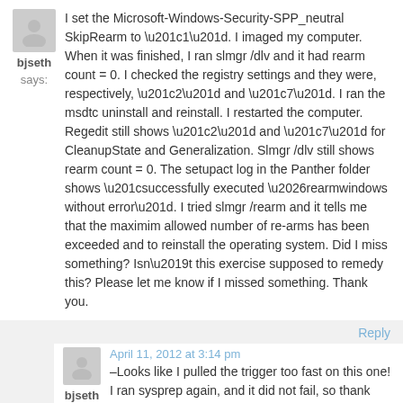bjseth says:
I set the Microsoft-Windows-Security-SPP_neutral SkipRearm to “1”. I imaged my computer. When it was finished, I ran slmgr /dlv and it had rearm count = 0. I checked the registry settings and they were, respectively, “2” and “7”. I ran the msdtc uninstall and reinstall. I restarted the computer. Regedit still shows “2” and “7” for CleanupState and Generalization. Slmgr /dlv still shows rearm count = 0. The setupact log in the Panther folder shows “successfully executed …rearmwindows without error”. I tried slmgr /rearm and it tells me that the maximim allowed number of re-arms has been exceeded and to reinstall the operating system. Did I miss something? Isn’t this exercise supposed to remedy this? Please let me know if I missed something. Thank you.
Reply
April 11, 2012 at 3:14 pm
bjseth says:
–Looks like I pulled the trigger too fast on this one! I ran sysprep again, and it did not fail, so thank you!